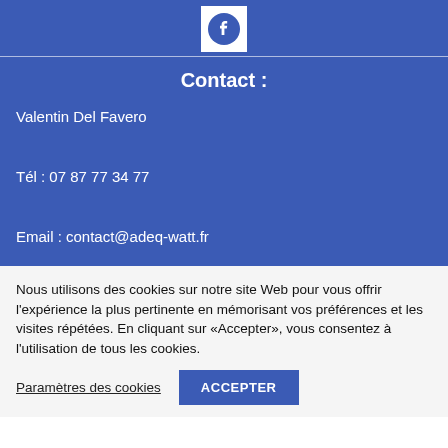[Figure (logo): Facebook logo icon in a white square box on blue background]
Contact :
Valentin Del Favero
Tél : 07 87 77 34 77
Email : contact@adeq-watt.fr
Nous utilisons des cookies sur notre site Web pour vous offrir l'expérience la plus pertinente en mémorisant vos préférences et les visites répétées. En cliquant sur «Accepter», vous consentez à l'utilisation de tous les cookies.
Paramètres des cookies
ACCEPTER